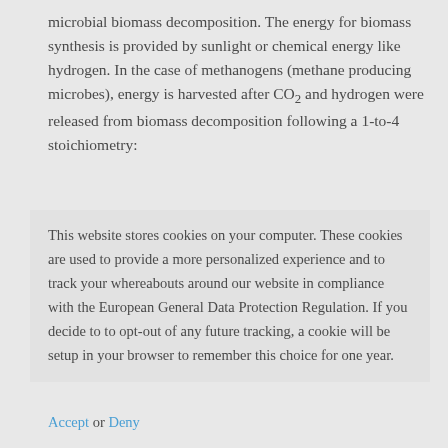microbial biomass decomposition. The energy for biomass synthesis is provided by sunlight or chemical energy like hydrogen. In the case of methanogens (methane producing microbes), energy is harvested after CO2 and hydrogen were released from biomass decomposition following a 1-to-4 stoichiometry:
This website stores cookies on your computer. These cookies are used to provide a more personalized experience and to track your whereabouts around our website in compliance with the European General Data Protection Regulation. If you decide to to opt-out of any future tracking, a cookie will be setup in your browser to remember this choice for one year.
Accept or Deny